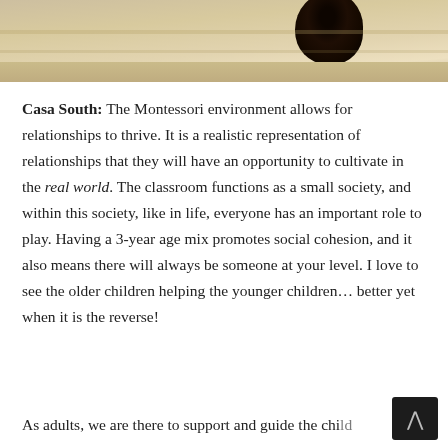[Figure (photo): Partial photo showing a dark round object (possibly a berry or bead) on a light wooden surface, cropped at top of page.]
Casa South: The Montessori environment allows for relationships to thrive. It is a realistic representation of relationships that they will have an opportunity to cultivate in the real world. The classroom functions as a small society, and within this society, like in life, everyone has an important role to play. Having a 3-year age mix promotes social cohesion, and it also means there will always be someone at your level. I love to see the older children helping the younger children… better yet when it is the reverse!
As adults, we are there to support and guide the child